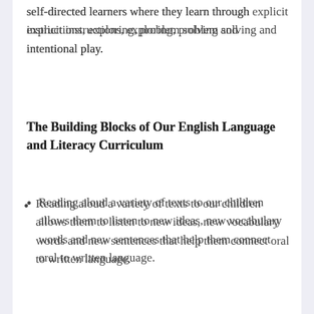self-directed learners where they learn through explicit instructions, exploring, problem solving and intentional play.
The Building Blocks of Our English Language and Literacy Curriculum
Reading aloud a variety of texts to our children allows them to listen to new ideas, new vocabulary words and new sentences that help them connect oral to written language.
Through show and tell, picture talk and retelling of stories, our children can express their thoughts and ideas, ask and respond to questions.
Phonemic awareness and phonics instruction enables children to...